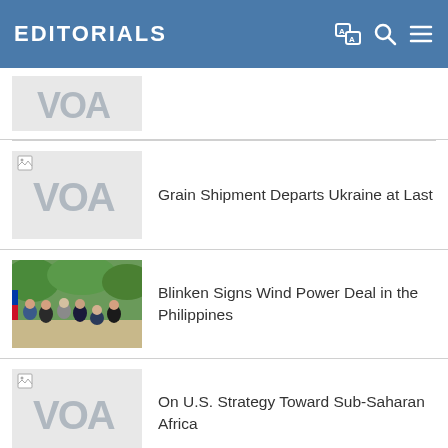EDITORIALS
[Figure (logo): VOA logo placeholder thumbnail, partial row]
[Figure (logo): VOA logo placeholder thumbnail with broken image icon]
Grain Shipment Departs Ukraine at Last
[Figure (photo): Group photo of officials at signing ceremony outdoors, with greenery in background]
Blinken Signs Wind Power Deal in the Philippines
[Figure (logo): VOA logo placeholder thumbnail with broken image icon]
On U.S. Strategy Toward Sub-Saharan Africa
More